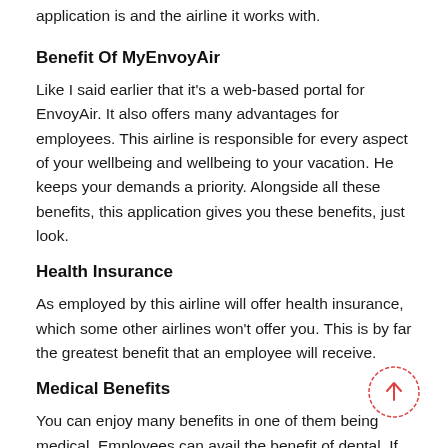application is and the airline it works with.
Benefit Of MyEnvoyAir
Like I said earlier that it's a web-based portal for EnvoyAir. It also offers many advantages for employees. This airline is responsible for every aspect of your wellbeing and wellbeing to your vacation. He keeps your demands a priority. Alongside all these benefits, this application gives you these benefits, just look.
Health Insurance
As employed by this airline will offer health insurance, which some other airlines won't offer you. This is by far the greatest benefit that an employee will receive.
Medical Benefits
You can enjoy many benefits in one of them being medical. Employees can avail the benefit of dental. If you're